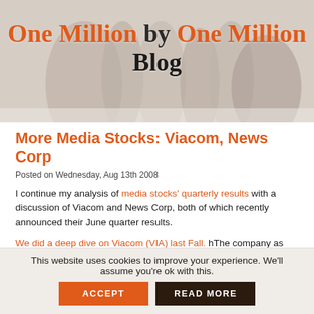[Figure (illustration): Blog header image with decorative hands background and blog title text overlaid: 'One Million by One Million Blog']
More Media Stocks: Viacom, News Corp
Posted on Wednesday, Aug 13th 2008
I continue my analysis of media stocks' quarterly results with a discussion of Viacom and News Corp, both of which recently announced their June quarter results.
We did a deep dive on Viacom (VIA) last Fall. hThe company as been doing well the last few quarters. It ended Q4 last year with a few smart moves and continued to perform in Q1 of the current year. The current quarter followed the same path.
Q2 revenues grew 21% to $3.86 billion. Media networks revenues were up 11% for the quarter, and the filmed entertainment segment delivered 35% revenue growth to $1.8 billion. Adjusted diluted EPS for the quarter was $0.81 — 18% increase over the...
This website uses cookies to improve your experience. We'll assume you're ok with this.